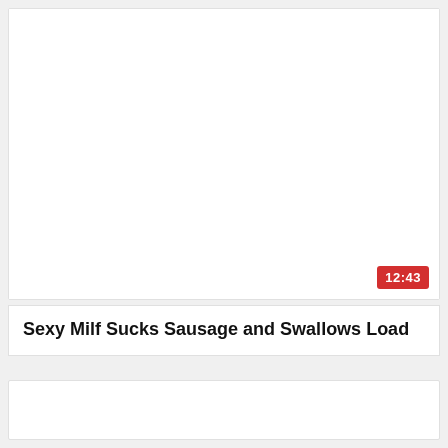[Figure (screenshot): Video thumbnail area — white/blank with a red duration badge showing 12:43 in the bottom right corner]
Sexy Milf Sucks Sausage and Swallows Load